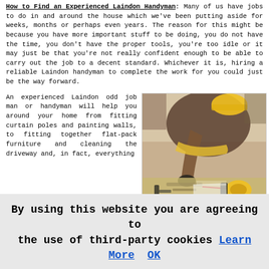How to Find an Experienced Laindon Handyman: Many of us have jobs to do in and around the house which we've been putting aside for weeks, months or perhaps even years. The reason for this might be because you have more important stuff to be doing, you do not have the time, you don't have the proper tools, you're too idle or it may just be that you're not really confident enough to be able to carry out the job to a decent standard. Whichever it is, hiring a reliable Laindon handyman to complete the work for you could just be the way forward.
An experienced Laindon odd job man or handyman will help you around your home from fitting curtain poles and painting walls, to fitting together flat-pack furniture and cleaning the driveway and, in fact, everything else in between. The reality is there isn't a task which is too modest for an odd job man. If you need a shelf fitted
[Figure (photo): Handyman working at a workbench with tools, wearing a tool belt, bending over a work surface with various tools visible including tape measure and drill bits.]
By using this website you are agreeing to the use of third-party cookies Learn More  OK